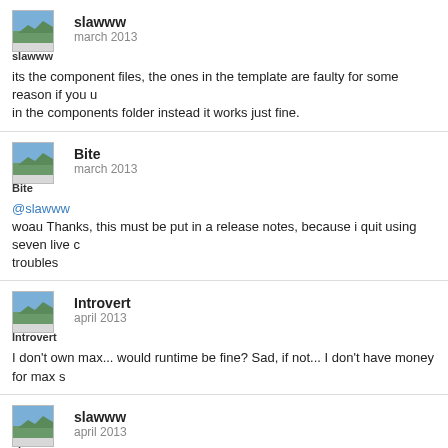slawww
march 2013

its the component files, the ones in the template are faulty for some reason if you u in the components folder instead it works just fine.
Bite
march 2013

@slawww
woau Thanks, this must be put in a release notes, because i quit using seven live c troubles
Introvert
april 2013

I don't own max... would runtime be fine? Sad, if not... I don't have money for max s
slawww
april 2013

is there any way to directly record the midi information from the melodizer to a clip see when a device is armed and a blank slot is pressed within clip it begins recordi shows up. I've been stumped on how to fix this, if its even possible. thanks!